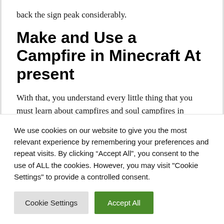back the sign peak considerably.
Make and Use a Campfire in Minecraft At present
With that, you understand every little thing that you must learn about campfires and soul campfires in Minecraft. You should utilize our information to show your mates learn how to make a campfire in Minecraft to make it simpler to search out one
We use cookies on our website to give you the most relevant experience by remembering your preferences and repeat visits. By clicking “Accept All”, you consent to the use of ALL the cookies. However, you may visit "Cookie Settings" to provide a controlled consent.
Cookie Settings
Accept All